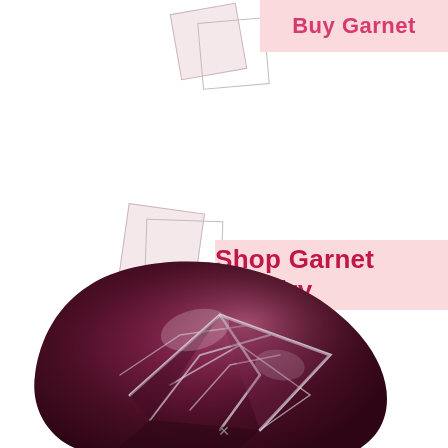[Figure (illustration): Pink rounded rectangle button with bold pink text 'Buy Garnet' and two overlapping rotated square decorative elements in light pink/gray]
[Figure (illustration): Pink rounded rectangle button with bold pink text 'Shop Garnet Jewelry' and two overlapping rotated square decorative elements in light pink/gray]
[Figure (photo): Close-up photo of a raw garnet gemstone with deep purple-red color and white crystalline mineral veins running through it]
×